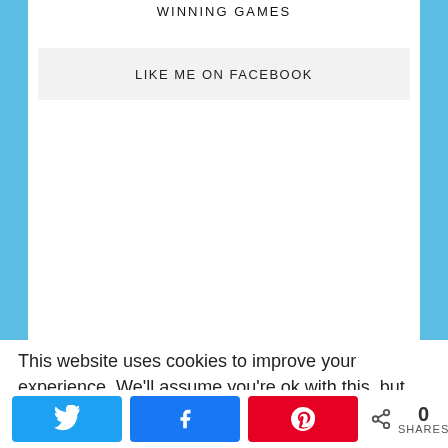WINNING GAMES
LIKE ME ON FACEBOOK
This website uses cookies to improve your experience. We'll assume you're ok with this, but you can opt-out if you wish.
0 SHARES